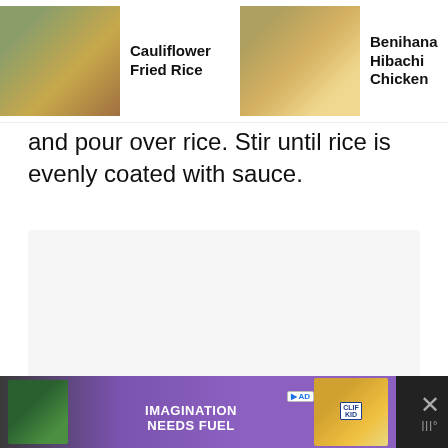[Figure (screenshot): Horizontal scrolling carousel of related recipe cards including: 'Cauliflower Fried Rice', 'Benihana Hibachi Chicken', and 'Chicken Lo Mein' with thumbnail food photos]
and pour over rice. Stir until rice is evenly coated with sauce.
[Figure (other): Large white/light gray rectangular content area (step image or blank placeholder)]
[Figure (other): Pink heart like button floating action button]
49.9K
[Figure (other): White share floating action button]
[Figure (other): Pink search floating action button]
[Figure (other): Advertisement banner: 'IMAGINATION NEEDS FUEL' with Clif Kid bar product imagery on dark background with purple gradient and close button]